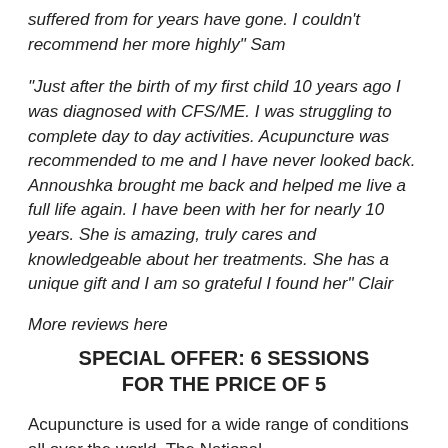suffered from for years have gone. I couldn't recommend her more highly" Sam
"Just after the birth of my first child 10 years ago I was diagnosed with CFS/ME. I was struggling to complete day to day activities. Acupuncture was recommended to me and I have never looked back. Annoushka brought me back and helped me live a full life again. I have been with her for nearly 10 years. She is amazing, truly cares and knowledgeable about her treatments. She has a unique gift and I am so grateful I found her" Clair
More reviews here
SPECIAL OFFER: 6 SESSIONS FOR THE PRICE OF 5
Acupuncture is used for a wide range of conditions  all over the world. The National